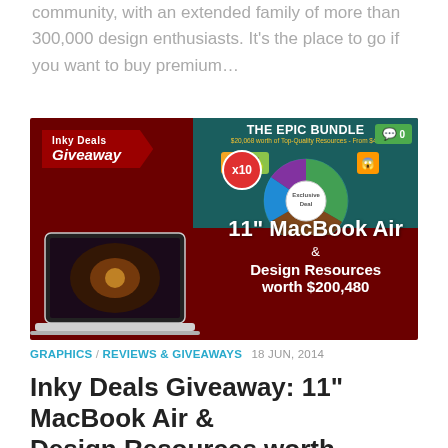community, with an extended family of more than 300,000 design enthusiasts. It's the place to go if you want to buy premium…
[Figure (illustration): Inky Deals Giveaway promotional banner showing a MacBook Air laptop on a dark red background, with 'THE EPIC BUNDLE x10' featuring a wheel of design resources icons, and text '11" MacBook Air & Design Resources worth $200,480'. A green comment badge showing '0' is in the top right corner.]
GRAPHICS / REVIEWS & GIVEAWAYS  18 JUN, 2014
Inky Deals Giveaway: 11" MacBook Air & Design Resources worth $200,480